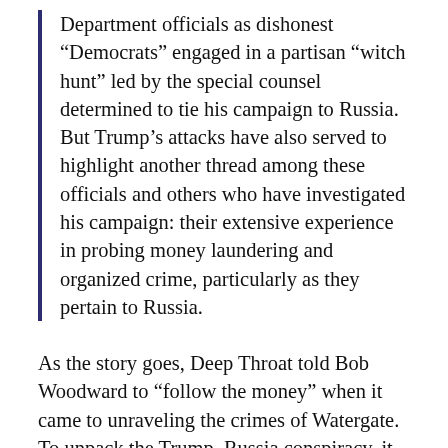Department officials as dishonest “Democrats” engaged in a partisan “witch hunt” led by the special counsel determined to tie his campaign to Russia. But Trump’s attacks have also served to highlight another thread among these officials and others who have investigated his campaign: their extensive experience in probing money laundering and organized crime, particularly as they pertain to Russia.
As the story goes, Deep Throat told Bob Woodward to “follow the money” when it came to unraveling the crimes of Watergate. To unpack the Trump–Russia conspiracy, it will be